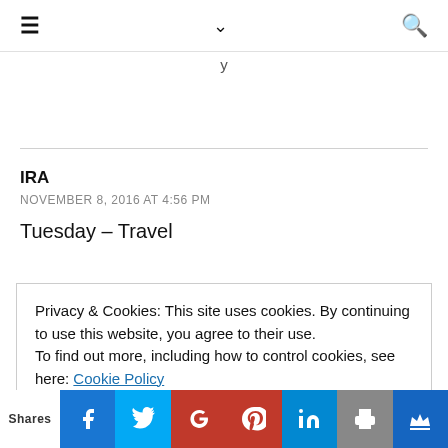≡ ∨ 🔍
y
IRA
NOVEMBER 8, 2016 AT 4:56 PM
Tuesday – Travel
Privacy & Cookies: This site uses cookies. By continuing to use this website, you agree to their use.
To find out more, including how to control cookies, see here: Cookie Policy
Shares | Facebook | Twitter | Google+ | Pinterest | LinkedIn | Print | Crown